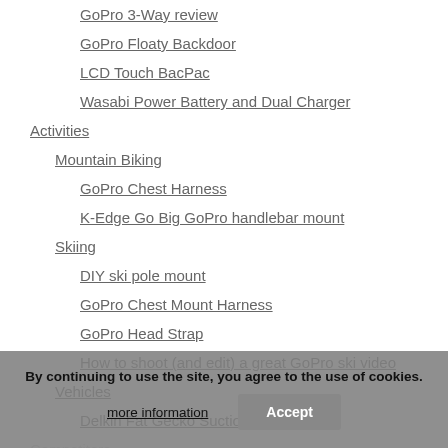GoPro 3-Way review
GoPro Floaty Backdoor
LCD Touch BacPac
Wasabi Power Battery and Dual Charger
Activities
Mountain Biking
GoPro Chest Harness
K-Edge Go Big GoPro handlebar mount
Skiing
DIY ski pole mount
GoPro Chest Mount Harness
GoPro Head Strap
How to shoot (and edit) a great GoPro ski video
Vehicles
Delkin Fat Gecko Suction Cup Mount
Competitors
Contour+2
Drift Innovation Ghost-S
JVC GC-XA2 Adixxion 2
By continuing to use the site, you agree to the use of cookies.
more information
Accept